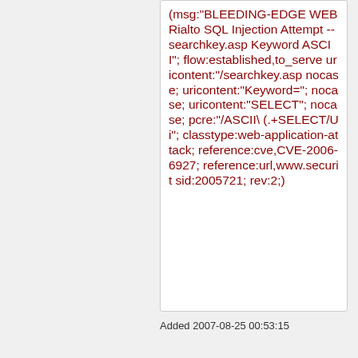(msg:"BLEEDING-EDGE WEB Rialto SQL Injection Attempt -- searchkey.asp Keyword ASCII"; flow:established,to_server; uricontent:"/searchkey.asp"; nocase; uricontent:"Keyword="; nocase; uricontent:"SELECT"; nocase; pcre:"/ASCII\(.+SELECT/Ui"; classtype:web-application-attack; reference:cve,CVE-2006-6927; reference:url,www.securit sid:2005721; rev:2;)
Added 2007-08-25 00:53:15